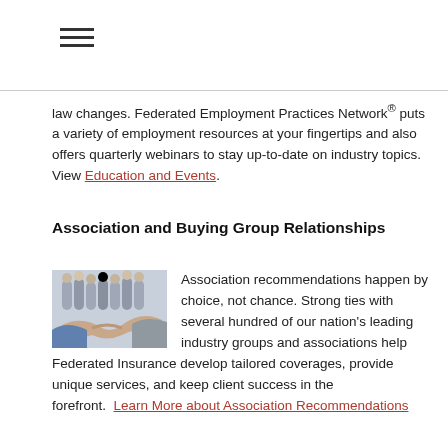[Figure (other): Hamburger menu icon (three horizontal lines)]
law changes. Federated Employment Practices Network® puts a variety of employment resources at your fingertips and also offers quarterly webinars to stay up-to-date on industry topics.  View Education and Events.
Association and Buying Group Relationships
[Figure (photo): Photo of a handshake in the foreground with a group of business people in the background.]
Association recommendations happen by choice, not chance. Strong ties with several hundred of our nation's leading industry groups and associations help Federated Insurance develop tailored coverages, provide unique services, and keep client success in the forefront.  Learn More about Association Recommendations